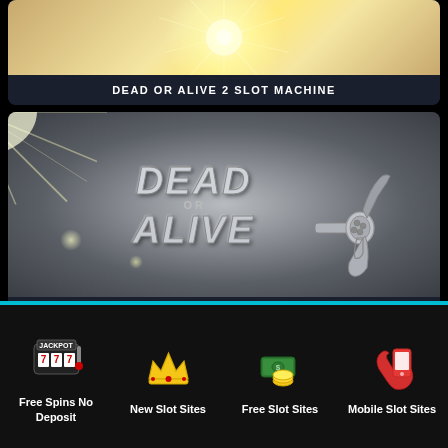[Figure (screenshot): Dead or Alive 2 Slot Machine card with golden starburst light effect background]
DEAD OR ALIVE 2 SLOT MACHINE
[Figure (screenshot): Dead or Alive slot machine game logo with metallic text on grey starburst background with revolver gun graphic]
DEAD OR ALIVE SLOT MACHINE
Free Spins No Deposit
New Slot Sites
Free Slot Sites
Mobile Slot Sites